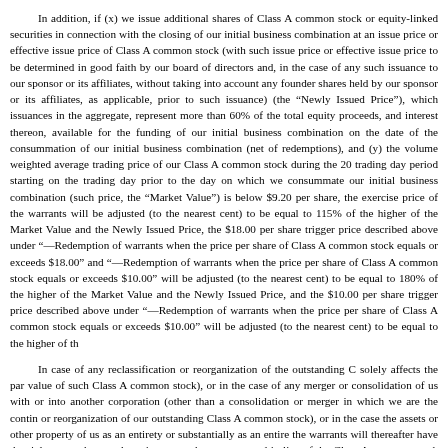In addition, if (x) we issue additional shares of Class A common stock or equity-linked securities in connection with the closing of our initial business combination at an issue price or effective issue price of Class A common stock (with such issue price or effective issue price to be determined in good faith by our board of directors and, in the case of any such issuance to our sponsor or its affiliates, without taking into account any founder shares held by our sponsor or its affiliates, as applicable, prior to such issuance) (the "Newly Issued Price"), which issuances in the aggregate, represent more than 60% of the total equity proceeds, and interest thereon, available for the funding of our initial business combination on the date of the consummation of our initial business combination (net of redemptions), and (y) the volume weighted average trading price of our Class A common stock during the 20 trading day period starting on the trading day prior to the day on which we consummate our initial business combination (such price, the "Market Value") is below $9.20 per share, the exercise price of the warrants will be adjusted (to the nearest cent) to be equal to 115% of the higher of the Market Value and the Newly Issued Price, the $18.00 per share trigger price described above under "—Redemption of warrants when the price per share of Class A common stock equals or exceeds $18.00" and "—Redemption of warrants when the price per share of Class A common stock equals or exceeds $10.00" will be adjusted (to the nearest cent) to be equal to 180% of the higher of the Market Value and the Newly Issued Price, and the $10.00 per share trigger price described above under "—Redemption of warrants when the price per share of Class A common stock equals or exceeds $10.00" will be adjusted (to the nearest cent) to be equal to the higher of the Market Value and the Newly Issued Price.
In case of any reclassification or reorganization of the outstanding Class A common stock (other than those that solely affects the par value of such Class A common stock), or in the case of any merger or consolidation of us with or into another corporation (other than a consolidation or merger in which we are the continuing corporation and that does not result in any reclassification or reorganization of our outstanding Class A common stock), or in the case of any sale or conveyance to another corporation or entity of the assets or other property of us as an entirety or substantially as an entirety in connection with which we are dissolved, the warrants will thereafter have the right to purchase and receive, upon the basis and upon the terms and conditions specified in the warrants and in lieu of the Class A common stock immediately theretofore purchasable and receivable upon the exercise of the rights represented thereby, the kind and amount of shares of Class A common stock or other securities or property (including cash) receivable upon such reclassification, reorganization, merger or consolidation, or upon a dissolution following any such sale or transfer, that the holder of the warrants would have received if such holder had exercised their warrants immediately prior to such event. If the holders were entitled to exercise a right of election as to the kind or amount of securities, cash or other assets receivable upon such consolidation or merger, then the kind and amount of securities, cash or other assets for which each warrant will become exercisable will be deemed to be the weighted average of the kind and amount received per share by the holders of Class A common stock in such consolidation or merger that affirmatively make such election, and if a tender, exchange or redemption